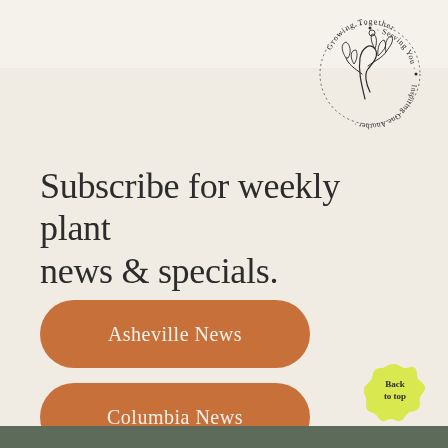[Figure (logo): Circular logo with botanical illustration in center (leafy branch drawing), text curving around the circle reading 'Growing Together · Serving You · Inspiring One Another ·']
Subscribe for weekly plant news & specials.
Asheville News
Columbia News
Back to top